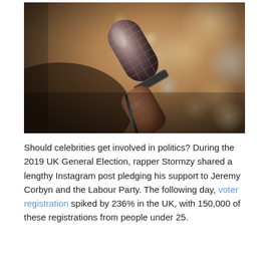[Figure (photo): Close-up photograph of a hand holding a microphone pointed upward against a blurred bokeh background with warm golden and cool blue tones.]
Should celebrities get involved in politics? During the 2019 UK General Election, rapper Stormzy shared a lengthy Instagram post pledging his support to Jeremy Corbyn and the Labour Party. The following day, voter registration spiked by 236% in the UK, with 150,000 of these registrations from people under 25.